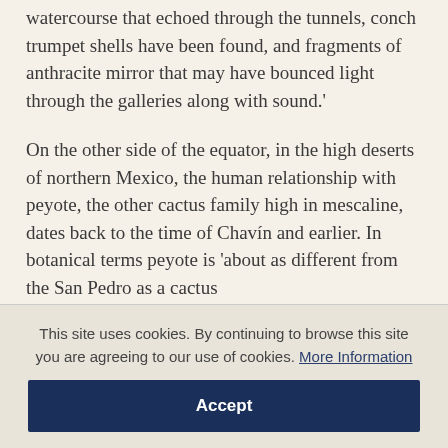watercourse that echoed through the tunnels, conch trumpet shells have been found, and fragments of anthracite mirror that may have bounced light through the galleries along with sound.'
On the other side of the equator, in the high deserts of northern Mexico, the human relationship with peyote, the other cactus family high in mescaline, dates back to the time of Chavín and earlier. In botanical terms peyote is 'about as different from the San Pedro as a cactus
This site uses cookies. By continuing to browse this site you are agreeing to our use of cookies. More Information
Accept